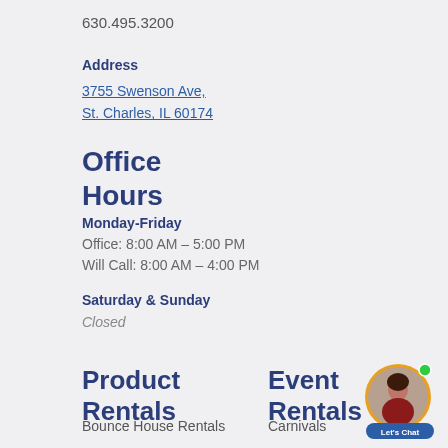630.495.3200
Address
3755 Swenson Ave,
St. Charles, IL 60174
Office Hours
Monday-Friday
Office: 8:00 AM – 5:00 PM
Will Call: 8:00 AM – 4:00 PM
Saturday & Sunday
Closed
Product Rentals
Event Rentals
Bounce House Rentals
Carnivals
Dunk Tank Rental
Corporate Events
Event Rentals
Event Planning